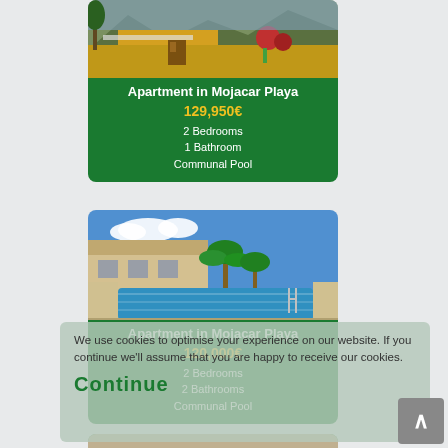[Figure (photo): Apartment terrace/rooftop photo in Mojacar Playa]
Apartment in Mojacar Playa
129,950€
2 Bedrooms
1 Bathroom
Communal Pool
[Figure (photo): Swimming pool with palm trees at apartment complex in Mojacar Playa]
Apartment in Mojacar Playa
120,000€
2 Bedrooms
2 Bathrooms
Communal Pool
We use cookies to optimise your experience on our website. If you continue we'll assume that you are happy to receive our cookies.
Continue